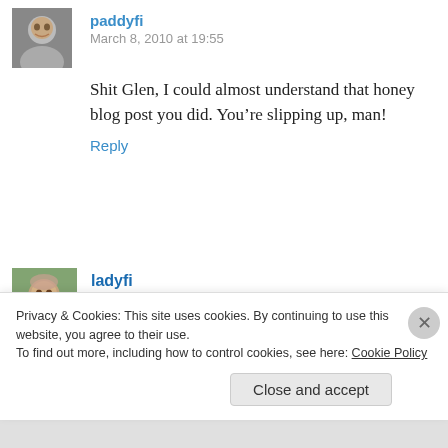[Figure (photo): Avatar of commenter paddyfi - partial face photo of a man]
paddyfi
March 8, 2010 at 19:55
Shit Glen, I could almost understand that honey blog post you did. You’re slipping up, man!
Reply
[Figure (photo): Avatar of commenter ladyfi - woman in black t-shirt outdoors]
ladyfi
March 7, 2010 at 18:35
Good pic.. Just think what wonderful photos you could take with an iPhone!
Privacy & Cookies: This site uses cookies. By continuing to use this website, you agree to their use.
To find out more, including how to control cookies, see here: Cookie Policy
Close and accept